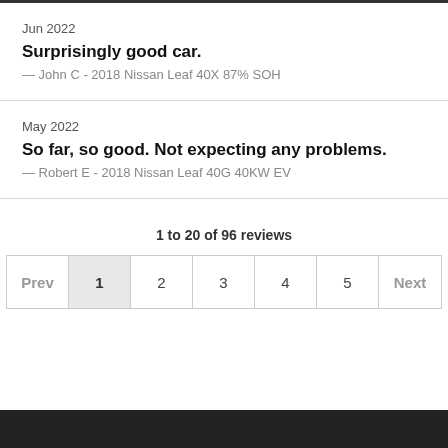Jun 2022
Surprisingly good car.
— John C - 2018 Nissan Leaf 40X 87% SOH
May 2022
So far, so good. Not expecting any problems.
— Robert E - 2018 Nissan Leaf 40G 40KW EV
1 to 20 of 96 reviews
Prev 1 2 3 4 5 Next